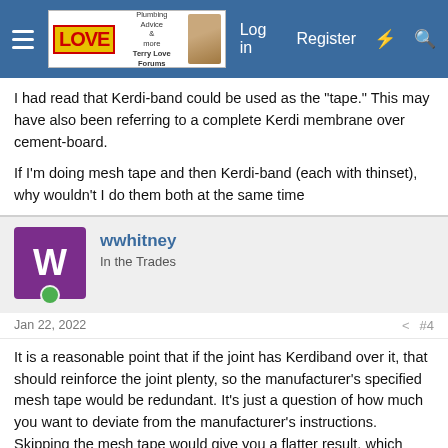Terry Love Plumbing Forums — Log in | Register
I had read that Kerdi-band could be used as the "tape." This may have also been referring to a complete Kerdi membrane over cement-board.

If I'm doing mesh tape and then Kerdi-band (each with thinset), why wouldn't I do them both at the same time
wwhitney
In the Trades
Jan 22, 2022  #4
It is a reasonable point that if the joint has Kerdiband over it, that should reinforce the joint plenty, so the manufacturer's specified mesh tape would be redundant. It's just a question of how much you want to deviate from the manufacturer's instructions. Skipping the mesh tape would give you a flatter result, which would be useful.